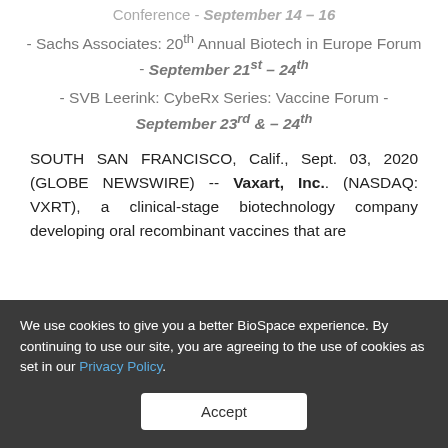- Sachs Associates: 20th Annual Biotech in Europe Forum - September 21st – 24th
- SVB Leerink: CybeRx Series: Vaccine Forum - September 23rd & – 24th
SOUTH SAN FRANCISCO, Calif., Sept. 03, 2020 (GLOBE NEWSWIRE) -- Vaxart, Inc.. (NASDAQ: VXRT), a clinical-stage biotechnology company developing oral recombinant vaccines that are
We use cookies to give you a better BioSpace experience. By continuing to use our site, you are agreeing to the use of cookies as set in our Privacy Policy.